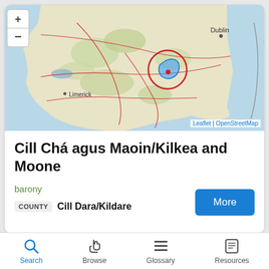[Figure (map): Interactive map showing Ireland with Dublin labeled in the northeast, Limerick in the west, and a highlighted barony region (Kilkea and Moone) marked with a blue shape and red circle in the center-east of Ireland. Zoom +/- controls visible. Leaflet | OpenStreetMap attribution shown.]
Cill Chá agus Maoin/Kilkea and Moone
barony
| COUNTY | Name |
| --- | --- |
| COUNTY | Cill Dara/Kildare |
Search | Browse | Glossary | Resources